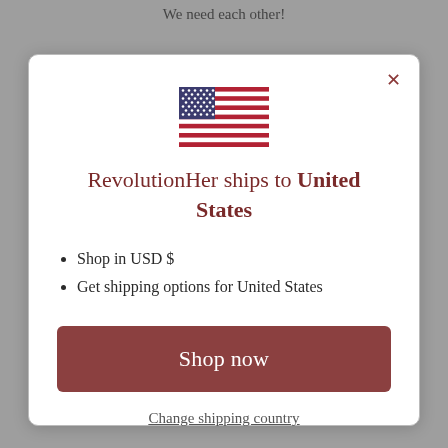We need each other!
[Figure (illustration): US flag SVG icon]
RevolutionHer ships to United States
Shop in USD $
Get shipping options for United States
Shop now
Change shipping country